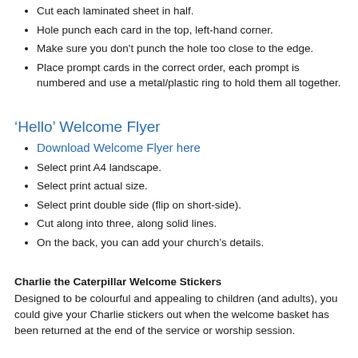Cut each laminated sheet in half.
Hole punch each card in the top, left-hand corner.
Make sure you don't punch the hole too close to the edge.
Place prompt cards in the correct order, each prompt is numbered and use a metal/plastic ring to hold them all together.
‘Hello’ Welcome Flyer
Download Welcome Flyer here
Select print A4 landscape.
Select print actual size.
Select print double side (flip on short-side).
Cut along into three, along solid lines.
On the back, you can add your church’s details.
Charlie the Caterpillar Welcome Stickers
Designed to be colourful and appealing to children (and adults), you could give your Charlie stickers out when the welcome basket has been returned at the end of the service or worship session.